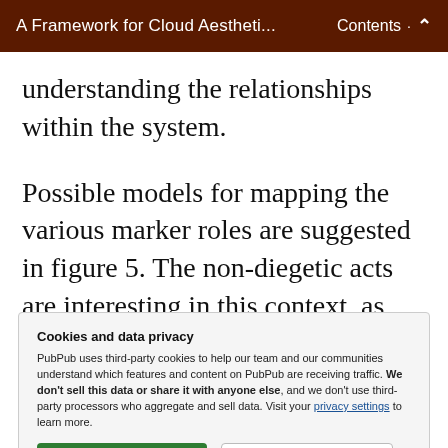A Framework for Cloud Aestheti...   Contents  ^
understanding the relationships within the system.
Possible models for mapping the various marker roles are suggested in figure 5. The non-diegetic acts are interesting in this context, as players interpret and discuss the system amongst themselves. As noted
Cookies and data privacy
PubPub uses third-party cookies to help our team and our communities understand which features and content on PubPub are receiving traffic. We don't sell this data or share it with anyone else, and we don't use third-party processors who aggregate and sell data. Visit your privacy settings to learn more.
on system and machine. The player